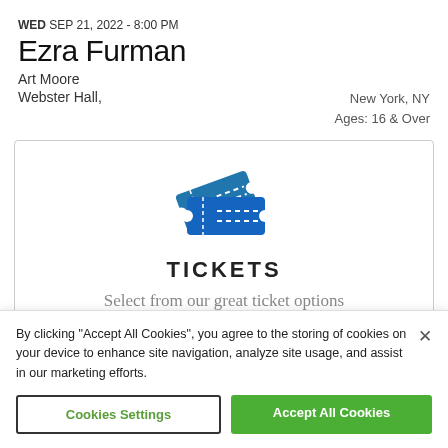WED SEP 21, 2022 - 8:00 PM
Ezra Furman
Art Moore
Webster Hall,    New York, NY
               Ages: 16 & Over
[Figure (illustration): Blue ticket icon showing two overlapping tickets with dashed lines]
TICKETS
Select from our great ticket options
By clicking "Accept All Cookies", you agree to the storing of cookies on your device to enhance site navigation, analyze site usage, and assist in our marketing efforts.
Cookies Settings
Accept All Cookies